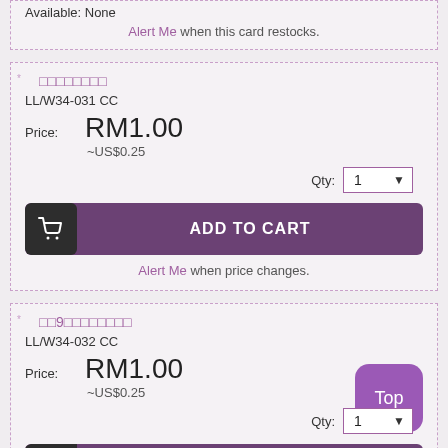Available: None
Alert Me when this card restocks.
LL/W34-031 CC
Price: RM1.00
~US$0.25
Qty: 1
ADD TO CART
Alert Me when price changes.
LL/W34-032 CC
Price: RM1.00
~US$0.25
Qty: 1
ADD TO CART